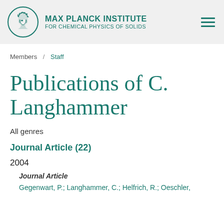[Figure (logo): Max Planck Institute for Chemical Physics of Solids logo with institute name and hamburger menu icon]
Members / Staff
Publications of C. Langhammer
All genres
Journal Article (22)
2004
Journal Article
Gegenwart, P.; Langhammer, C.; Helfrich, R.; Oeschler,